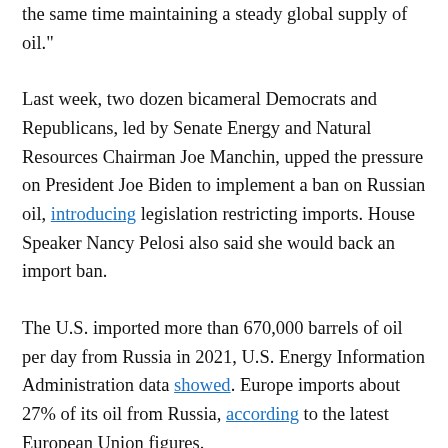the same time maintaining a steady global supply of oil."
Last week, two dozen bicameral Democrats and Republicans, led by Senate Energy and Natural Resources Chairman Joe Manchin, upped the pressure on President Joe Biden to implement a ban on Russian oil, introducing legislation restricting imports. House Speaker Nancy Pelosi also said she would back an import ban.
The U.S. imported more than 670,000 barrels of oil per day from Russia in 2021, U.S. Energy Information Administration data showed. Europe imports about 27% of its oil from Russia, according to the latest European Union figures.
Meanwhile, gasoline prices, largely determined by oil prices, have surged in recent weeks.
The average price of gasoline in the U.S. reached $4.07 per